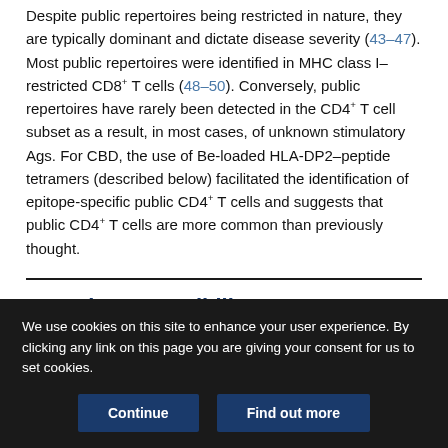Despite public repertoires being restricted in nature, they are typically dominant and dictate disease severity (43–47). Most public repertoires were identified in MHC class I–restricted CD8+ T cells (48–50). Conversely, public repertoires have rarely been detected in the CD4+ T cell subset as a result, in most cases, of unknown stimulatory Ags. For CBD, the use of Be-loaded HLA-DP2–peptide tetramers (described below) facilitated the identification of epitope-specific public CD4+ T cells and suggests that public CD4+ T cells are more common than previously thought.
Genetic susceptibility to CBD
We use cookies on this site to enhance your user experience. By clicking any link on this page you are giving your consent for us to set cookies.